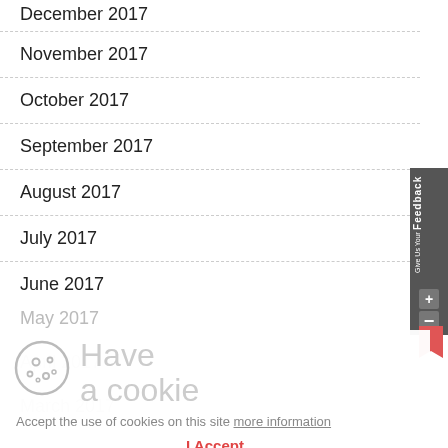December 2017
November 2017
October 2017
September 2017
August 2017
July 2017
June 2017
May 2017
April 2017
March 2017
Have a cookie
Accept the use of cookies on this site more information
I Accept